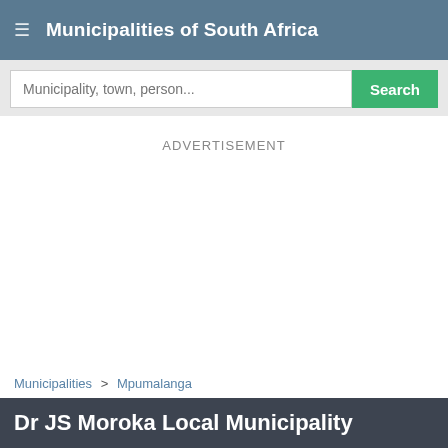Municipalities of South Africa
Municipality, town, person... Search
ADVERTISEMENT
Municipalities > Mpumalanga
Dr JS Moroka Local Municipality